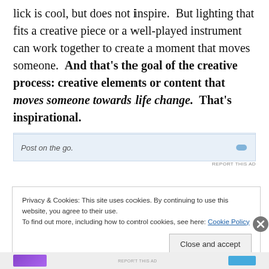lick is cool, but does not inspire.  But lighting that fits a creative piece or a well-played instrument can work together to create a moment that moves someone.  And that's the goal of the creative process: creative elements or content that moves someone towards life change.  That's inspirational.
[Figure (other): Advertisement banner with text 'Post on the go.' and a logo/icon on the right side]
REPORT THIS AD
Privacy & Cookies: This site uses cookies. By continuing to use this website, you agree to their use.
To find out more, including how to control cookies, see here: Cookie Policy
Close and accept